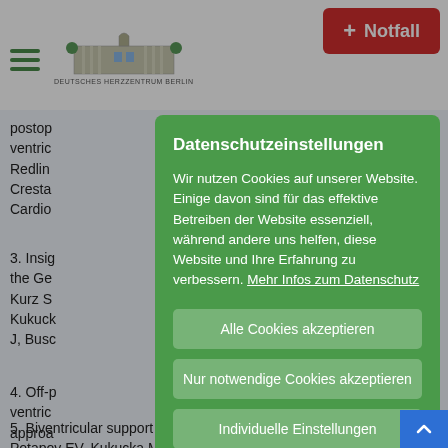DEUTSCHES HERZZENTRUM BERLIN | Notfall
postop... ventric... Redlin... Cresta... Cardio...
3. Insig... the Ge... Kurz S... Kukuck... J, Busc...
4. Off-p... ventric... approa... Potapo... Cardio...
5. Biventricular support using 2 HeartMate 3 pu... Potapov EV, Kukucka M, Falk V, Krabatsch T. J
Datenschutzeinstellungen

Wir nutzen Cookies auf unserer Website. Einige davon sind für das effektive Betreiben der Website essenziell, während andere uns helfen, diese Website und Ihre Erfahrung zu verbessern. Mehr Infos zum Datenschutz

Alle Cookies akzeptieren
Nur notwendige Cookies akzeptieren
Individuelle Einstellungen